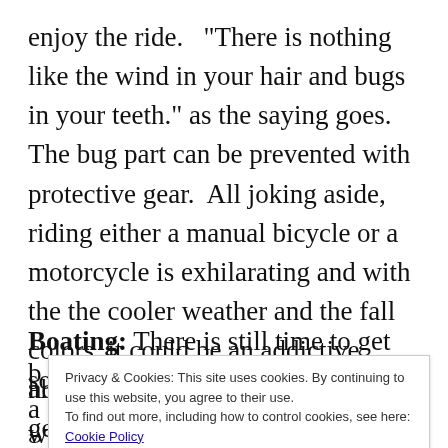enjoy the ride.   "There is nothing like the wind in your hair and bugs in your teeth." as the saying goes.  The bug part can be prevented with protective gear.  All joking aside, riding either a manual bicycle or a motorcycle is exhilarating and with the the cooler weather and the fall colors, it could be an addictive hobby.
Boating: There is still time to get some good
Privacy & Cookies: This site uses cookies. By continuing to use this website, you agree to their use.
To find out more, including how to control cookies, see here: Cookie Policy
Close and accept
also great ways to relax while you get from one